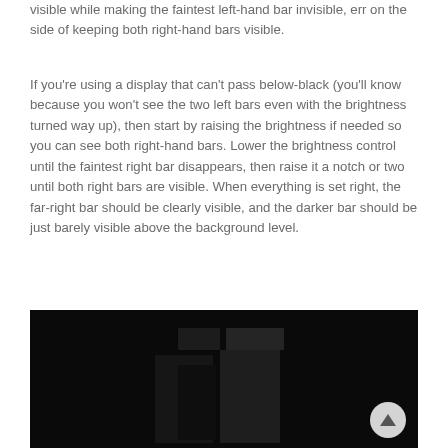visible while making the faintest left-hand bar invisible, err on the side of keeping both right-hand bars visible.
If you're using a display that can't pass below-black (you'll know because you won't see the two left bars even with the brightness turned way up), then start by raising the brightness if needed so you can see both right-hand bars. Lower the brightness control until the faintest right bar disappears, then raise it a notch or two until both right bars are visible. When everything is set right, the far-right bar should be clearly visible, and the darker bar should be just barely visible above the background level.
[Figure (photo): Dark image showing vertical bars of slightly different dark shades against a black background, used for display calibration. A circular scroll-to-top button appears in the bottom-right corner.]